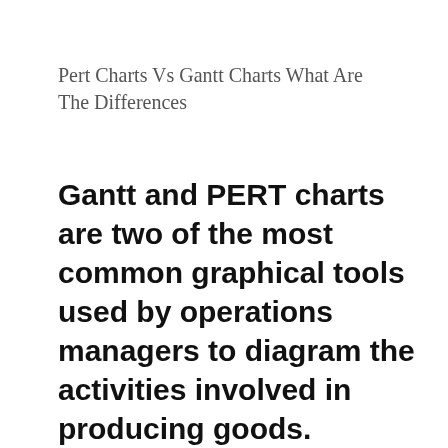Pert Charts Vs Gantt Charts What Are The Differences
Gantt and PERT charts are two of the most common graphical tools used by operations managers to diagram the activities involved in producing goods.